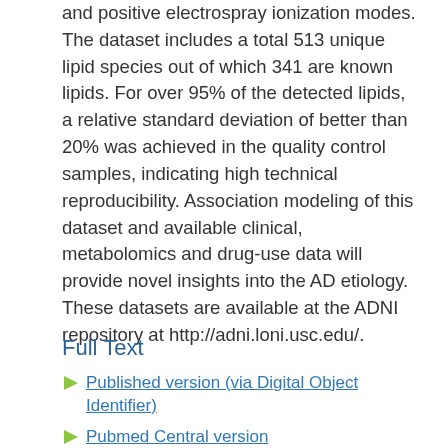and positive electrospray ionization modes. The dataset includes a total 513 unique lipid species out of which 341 are known lipids. For over 95% of the detected lipids, a relative standard deviation of better than 20% was achieved in the quality control samples, indicating high technical reproducibility. Association modeling of this dataset and available clinical, metabolomics and drug-use data will provide novel insights into the AD etiology. These datasets are available at the ADNI repository at http://adni.loni.usc.edu/.
Full Text
Published version (via Digital Object Identifier)
Pubmed Central version
Link to Item